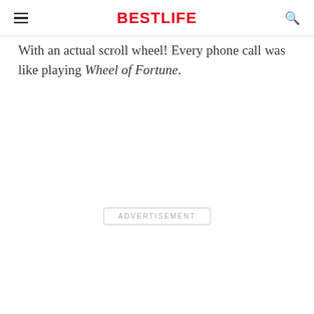BESTLIFE
With an actual scroll wheel! Every phone call was like playing Wheel of Fortune.
ADVERTISEMENT